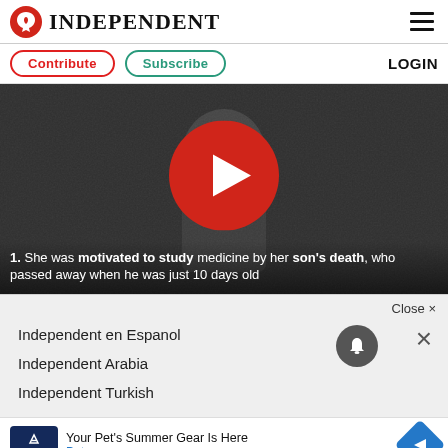INDEPENDENT
Contribute   Subscribe   LOGIN
[Figure (screenshot): Black and white video thumbnail showing a person in a reflective pose, with a large red play button overlay. Caption reads: '1. She was motivated to study medicine by her son's death, who passed away when he was just 10 days old']
Close ×
Independent en Espanol
Independent Arabia
Independent Turkish
Your Pet's Summer Gear Is Here
Petco